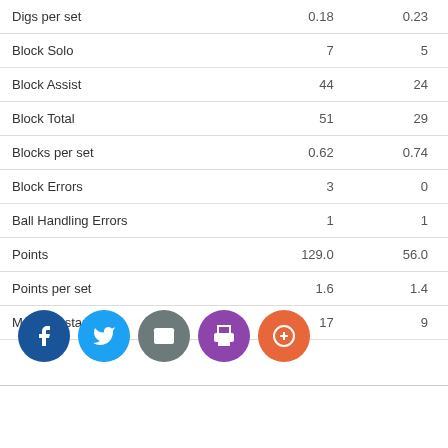|  | Col1 | Col2 |
| --- | --- | --- |
| Digs per set | 0.18 | 0.23 |
| Block Solo | 7 | 5 |
| Block Assist | 44 | 24 |
| Block Total | 51 | 29 |
| Blocks per set | 0.62 | 0.74 |
| Block Errors | 3 | 0 |
| Ball Handling Errors | 1 | 1 |
| Points | 129.0 | 56.0 |
| Points per set | 1.6 | 1.4 |
| Matches started | 17 | 9 |
[Figure (other): Social sharing buttons: Facebook, Twitter, Email, Print, Add]